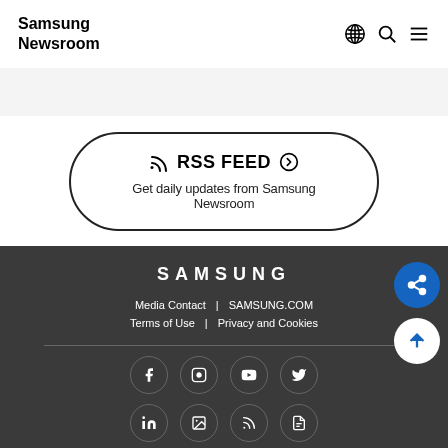Samsung Newsroom
RSS FEED
Get daily updates from Samsung Newsroom
SAMSUNG
Media Contact | SAMSUNG.COM
Terms of Use | Privacy and Cookies